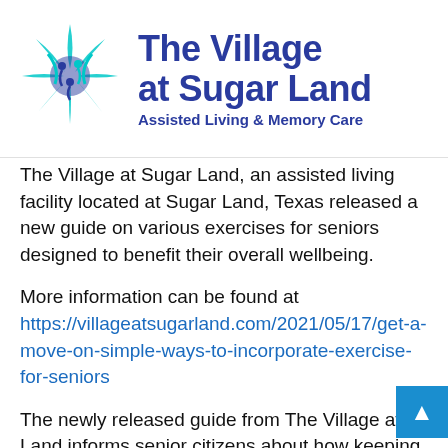[Figure (logo): The Village at Sugar Land logo: teal and blue abstract star/people design with text 'The Village at Sugar Land' and 'Assisted Living & Memory Care']
The Village at Sugar Land, an assisted living facility located at Sugar Land, Texas released a new guide on various exercises for seniors designed to benefit their overall wellbeing.
More information can be found at https://villageatsugarland.com/2021/05/17/get-a-move-on-simple-ways-to-incorporate-exercise-for-seniors
The newly released guide from The Village at Sugar Land informs senior citizens about how keeping a